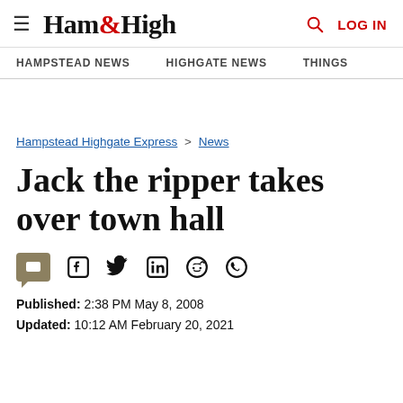Ham&High — HAMPSTEAD NEWS | HIGHGATE NEWS | THINGS | LOG IN
Hampstead Highgate Express > News
Jack the ripper takes over town hall
Published: 2:38 PM May 8, 2008
Updated: 10:12 AM February 20, 2021